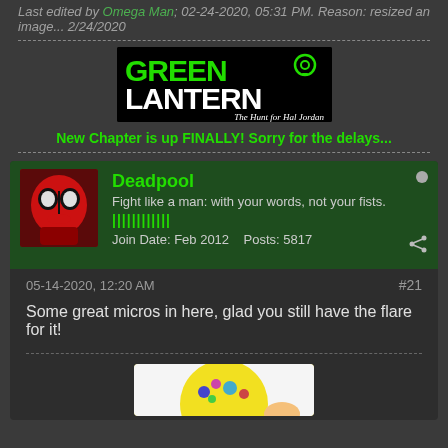Last edited by Omega Man; 02-24-2020, 05:31 PM. Reason: resized an image... 2/24/2020
[Figure (illustration): Green Lantern: The Hunt for Hal Jordan banner image with green and white text on black background]
New Chapter is up FINALLY! Sorry for the delays...
[Figure (photo): Deadpool avatar - red masked figure]
Deadpool
Fight like a man: with your words, not your fists.
Join Date: Feb 2012    Posts: 5817
05-14-2020, 12:20 AM
#21
Some great micros in here, glad you still have the flare for it!
[Figure (illustration): Yellow circular character illustration partially visible at bottom]